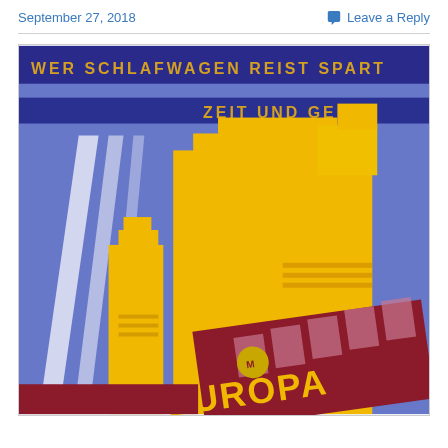September 27, 2018
Leave a Reply
[Figure (illustration): Vintage Art Deco travel poster featuring yellow geometric modernist buildings against a blue sky with white light beams, and a dark red train car labeled 'EUROPA' with yellow lettering. Text at top reads 'WER SCHLAFWAGEN REIST SPART ZEIT UND GELD'.]